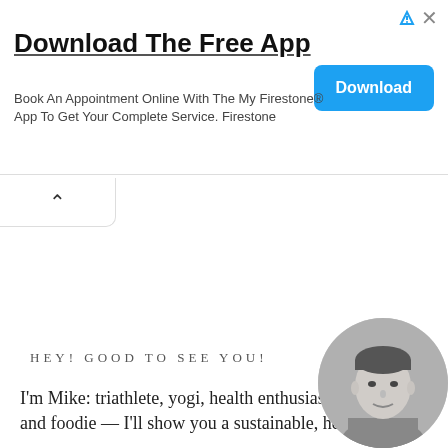[Figure (screenshot): Advertisement banner: 'Download The Free App' with blue Download button. Ad reads: Book An Appointment Online With The My Firestone® App To Get Your Complete Service. Firestone. Top-right has ad attribution triangle icon and close X.]
[Figure (screenshot): Collapse/accordion tab with upward caret arrow, partially open below the ad banner.]
HEY! GOOD TO SEE YOU!
I'm Mike: triathlete, yogi, health enthusiast and foodie — I'll show you a sustainable, healthy
[Figure (photo): Circular black and white portrait photo of a man (Mike), cropped to show head and upper shoulders, smiling.]